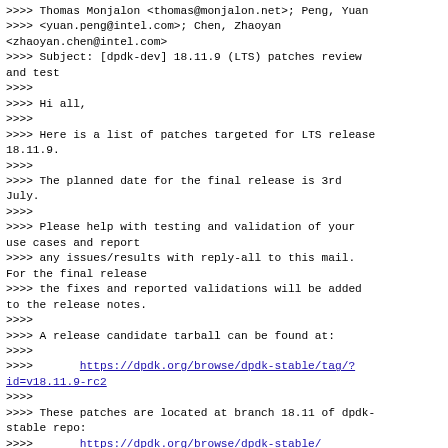Thomas Monjalon <thomas@monjalon.net>; Peng, Yuan
<yuan.peng@intel.com>; Chen, Zhaoyan
<zhaoyan.chen@intel.com>
Subject: [dpdk-dev] 18.11.9 (LTS) patches review
and test
>>>>
>>>> Hi all,
>>>>
>>>> Here is a list of patches targeted for LTS release
18.11.9.
>>>>
>>>> The planned date for the final release is 3rd
July.
>>>>
>>>> Please help with testing and validation of your
use cases and report
>>>> any issues/results with reply-all to this mail.
For the final release
>>>> the fixes and reported validations will be added
to the release notes.
>>>>
>>>> A release candidate tarball can be found at:
>>>>
>>>>        https://dpdk.org/browse/dpdk-stable/tag/?id=v18.11.9-rc2
>>>>
>>>> These patches are located at branch 18.11 of dpdk-stable repo:
>>>>        https://dpdk.org/browse/dpdk-stable/
>>>>